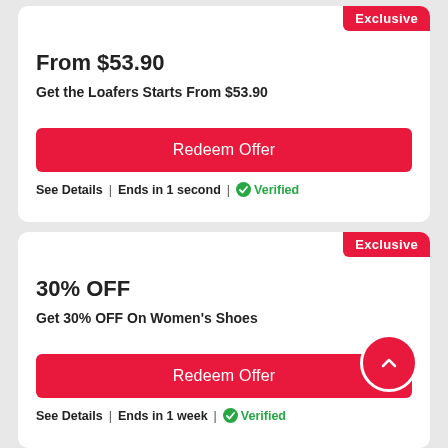From $53.90
Get the Loafers Starts From $53.90
Redeem Offer
See Details | Ends in 1 second | Verified
30% OFF
Get 30% OFF On Women's Shoes
Redeem Offer
See Details | Ends in 1 week | Verified
Exclusive